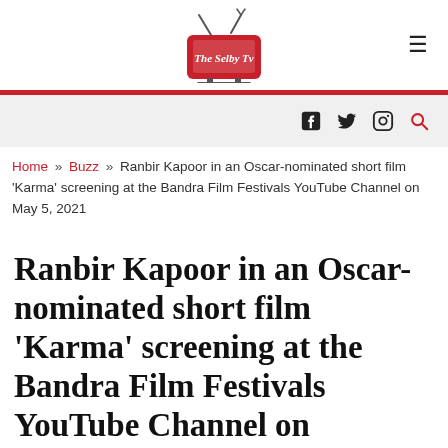[Figure (logo): The Selby TV logo — stylized red TV set with script text]
Social icons: Facebook, Twitter, Instagram, Search
Home » Buzz » Ranbir Kapoor in an Oscar-nominated short film 'Karma' screening at the Bandra Film Festivals YouTube Channel on May 5, 2021
Ranbir Kapoor in an Oscar-nominated short film 'Karma' screening at the Bandra Film Festivals YouTube Channel on